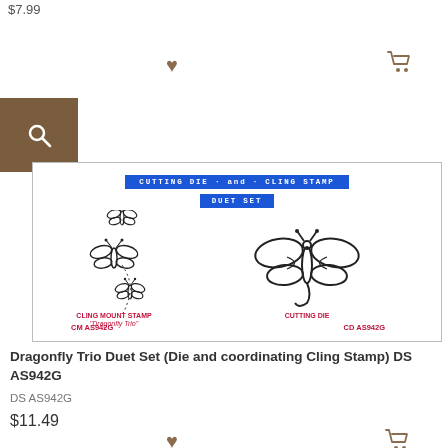$7.99
[Figure (illustration): Product image showing a Cutting Die and Cling Stamp Duet Set featuring dragonfly designs. Has two blue banner labels reading 'CUTTING DIE and CLING STAMP' and 'DUET SET'. Left side shows cling mount stamp 'Dragonfly Trio' CM AS942G with three dragonfly outlines. Right side shows cutting die CD AS942G with a larger dragonfly die-cut outline.]
Dragonfly Trio Duet Set (Die and coordinating Cling Stamp) DS AS942G
DS AS942G
$11.49